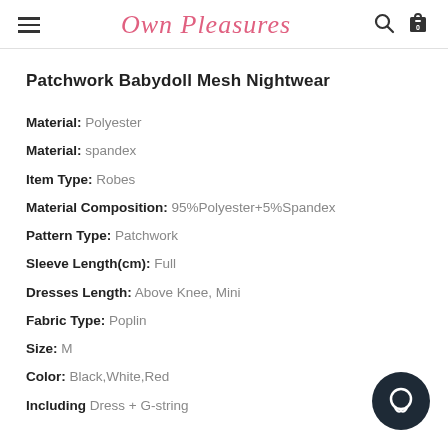Own Pleasures
Patchwork Babydoll Mesh Nightwear
Material: Polyester
Material: spandex
Item Type: Robes
Material Composition: 95%Polyester+5%Spandex
Pattern Type: Patchwork
Sleeve Length(cm): Full
Dresses Length: Above Knee, Mini
Fabric Type: Poplin
Size: M
Color: Black,White,Red
Including Dress + G-string
[Figure (illustration): Dark circular chat widget icon in bottom-right corner]